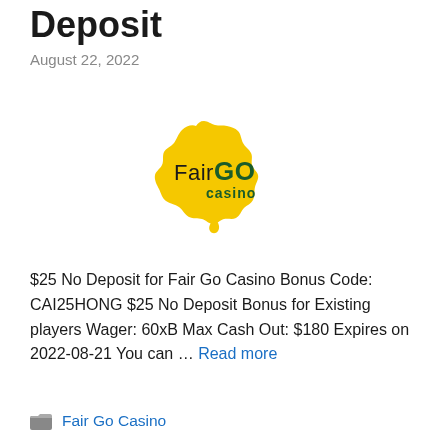Deposit
August 22, 2022
[Figure (logo): Fair Go Casino logo — text 'FairGO casino' overlaid on a yellow silhouette of Australia]
$25 No Deposit for Fair Go Casino Bonus Code: CAI25HONG $25 No Deposit Bonus for Existing players Wager: 60xB Max Cash Out: $180 Expires on 2022-08-21 You can … Read more
Fair Go Casino